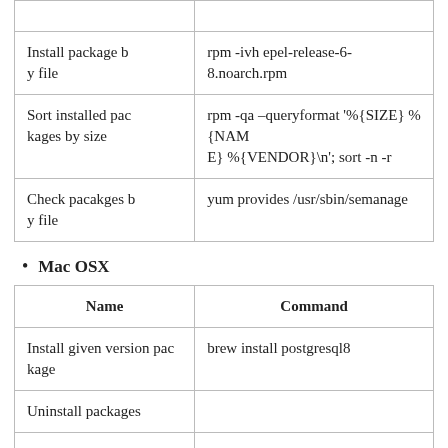| Name | Command |
| --- | --- |
| Install package by file | rpm -ivh epel-release-6-8.noarch.rpm |
| Sort installed packages by size | rpm -qa –queryformat '%{SIZE} %{NAME} %{VENDOR}\n'; sort -n -r |
| Check pacakges by file | yum provides /usr/sbin/semanage |
Mac OSX
| Name | Command |
| --- | --- |
| Install given version package | brew install postgresql8 |
| Uninstall packages |  |
| Reinstall packages |  |